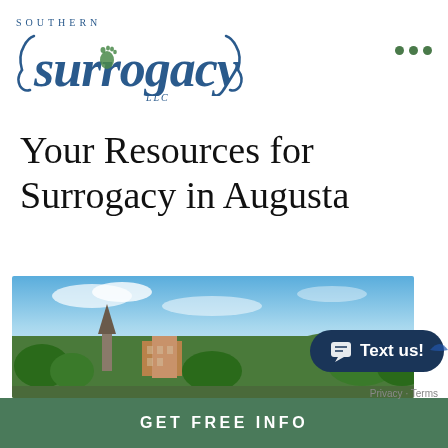[Figure (logo): Southern Surrogacy LLC logo with blue serif italic text and green footprint icon]
Your Resources for Surrogacy in Augusta
[Figure (photo): Panoramic photo of Augusta city skyline with church steeple, brick buildings, trees, and blue sky with clouds]
Text us!
Privacy · Terms
GET FREE INFO